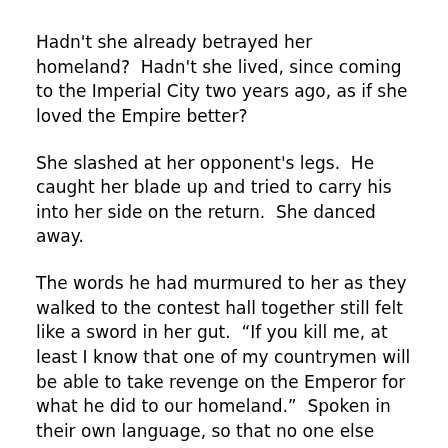Hadn't she already betrayed her homeland?  Hadn't she lived, since coming to the Imperial City two years ago, as if she loved the Empire better?
She slashed at her opponent's legs.  He caught her blade up and tried to carry his into her side on the return.  She danced away.
The words he had murmured to her as they walked to the contest hall together still felt like a sword in her gut.  “If you kill me, at least I know that one of my countrymen will be able to take revenge on the Emperor for what he did to our homeland.”  Spoken in their own language, so that no one else would understand.
How could she explain that she was both a Thousand Lakes girl, and a woman of the Empire?  When it had taken so long for her to realize it herself?